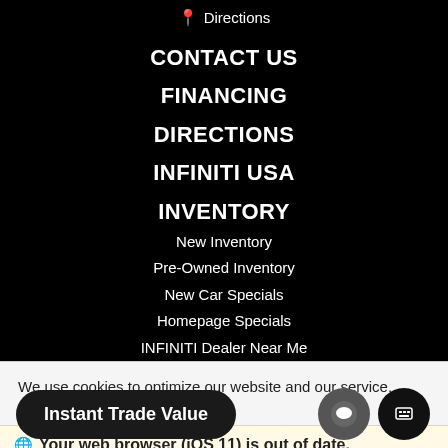Directions
CONTACT US
FINANCING
DIRECTIONS
INFINITI USA
INVENTORY
New Inventory
Pre-Owned Inventory
New Car Specials
Homepage Specials
INFINITI Dealer Near Me
We use cookies to optimize our website and our service.
Cookie Policy   Privacy Statement
Your web browser (iOS 11) is out of date.
Update your browser for more security, speed and
Instant Trade Value